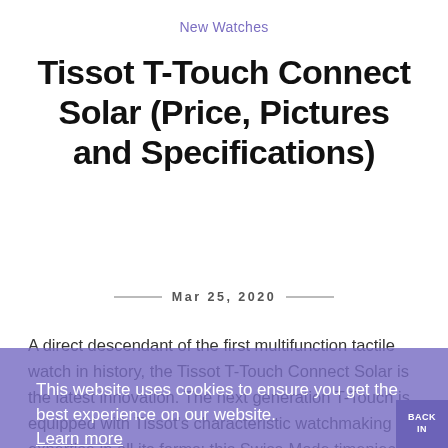New Watches
Tissot T-Touch Connect Solar (Price, Pictures and Specifications)
Mar 25, 2020
A direct descendant of the first multifunction tactile watch in history, the Tissot T-Touch Connect Solar is the latest innovation. The next generation T-Touch is equipped with Tissot's characteristic watchmaking expertise in all its forms: this Swiss-Mode timepiece is connected, securely private, interactive, autonomous, contemporary and long-lasting.
This website uses cookies to ensure you get the best experience on our website.
Learn more
Got it!